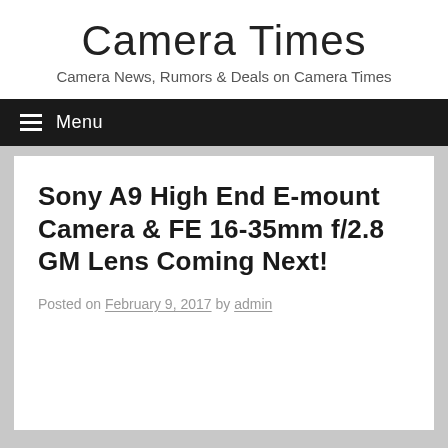Camera Times
Camera News, Rumors & Deals on Camera Times
☰ Menu
Sony A9 High End E-mount Camera & FE 16-35mm f/2.8 GM Lens Coming Next!
Posted on February 9, 2017 by admin